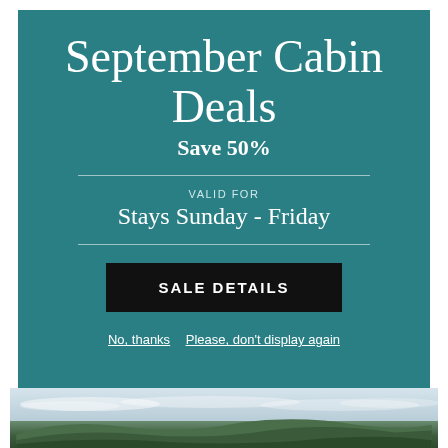September Cabin Deals
Save 50%
VALID FOR
Stays Sunday - Friday
SALE DETAILS
No, thanks  Please, don't display again
[Figure (photo): Landscape photo showing rolling forested hills under a partly cloudy sky]